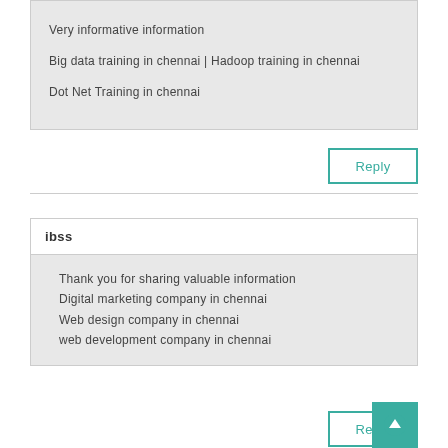Very informative information

Big data training in chennai | Hadoop training in chennai

Dot Net Training in chennai
Reply
ibss
Thank you for sharing valuable information
Digital marketing company in chennai
Web design company in chennai
web development company in chennai
Reply